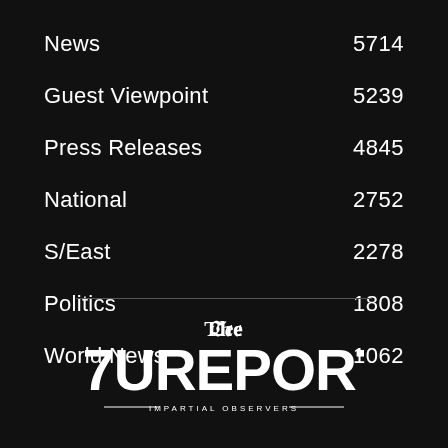News  5714
Guest Viewpoint  5239
Press Releases  4845
National  2752
S/East  2278
Politics  1808
World News  1062
[Figure (logo): 247Ureports logo with blackletter 'The' above bold '247UREPORTS' text and 'IMPARTIAL OBSERVERS' tagline with decorative lines]
IMPARTIAL OBSERVERS